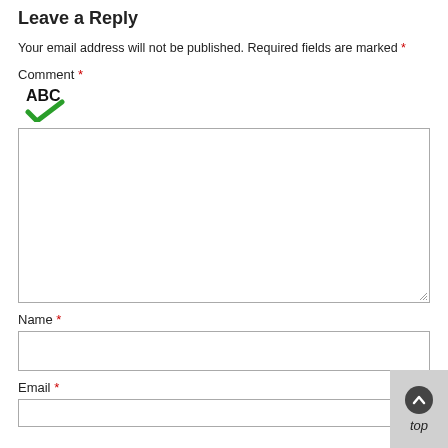Leave a Reply
Your email address will not be published. Required fields are marked *
Comment *
[Figure (other): Spell-check icon: ABC text with a green checkmark below it]
Name *
Email *